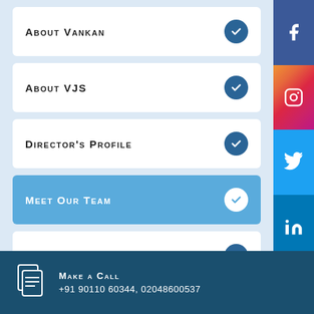About Vankan
About VJS
Director's Profile
Meet Our Team
Certificates
[Figure (infographic): Social media sidebar icons: Facebook, Instagram, Twitter, LinkedIn]
Make a Call +91 90110 60344, 02048600537